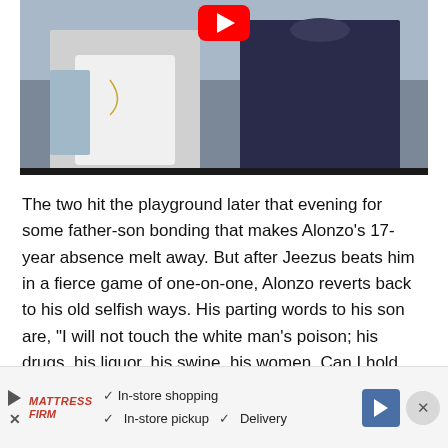[Figure (photo): A photo showing two people (a man in a white tank top on the left and a man in a dark shirt on the right) outdoors, with a YouTube play button overlay at the top center.]
The two hit the playground later that evening for some father-son bonding that makes Alonzo's 17-year absence melt away. But after Jeezus beats him in a fierce game of one-on-one, Alonzo reverts back to his old selfish ways. His parting words to his son are, “I will not touch the white man’s poison; his drugs, his liquor, his swine, his women. Can I hold $20?”
[Figure (screenshot): Advertisement banner for Mattress Firm showing in-store shopping, in-store pickup, and delivery options with navigation arrow icon and close button.]